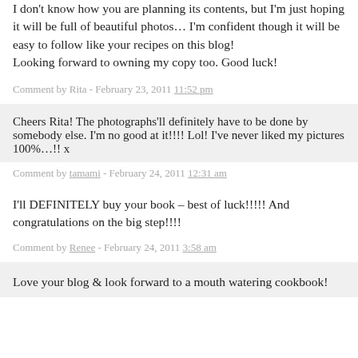I don't know how you are planning its contents, but I'm just hoping it will be full of beautiful photos… I'm confident though it will be easy to follow like your recipes on this blog!
Looking forward to owning my copy too. Good luck!
Comment by Rita - February 23, 2011 11:52 pm
Cheers Rita! The photographs'll definitely have to be done by somebody else. I'm no good at it!!!! Lol! I've never liked my pictures 100%…!! x
Comment by tamami - February 24, 2011 12:31 am
I'll DEFINITELY buy your book – best of luck!!!!! And congratulations on the big step!!!!
Comment by Renee - February 24, 2011 3:58 am
Love your blog & look forward to a mouth watering cookbook!